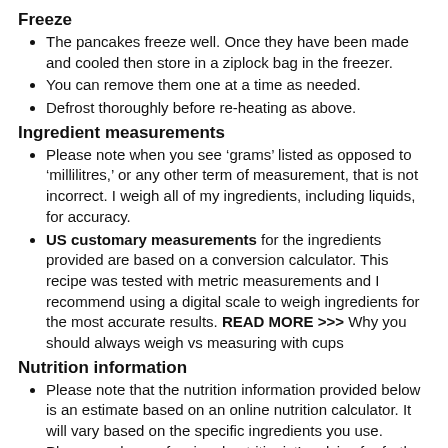Freeze
The pancakes freeze well. Once they have been made and cooled then store in a ziplock bag in the freezer.
You can remove them one at a time as needed.
Defrost thoroughly before re-heating as above.
Ingredient measurements
Please note when you see ‘grams’ listed as opposed to ‘millilitres,’ or any other term of measurement, that is not incorrect. I weigh all of my ingredients, including liquids, for accuracy.
US customary measurements for the ingredients provided are based on a conversion calculator. This recipe was tested with metric measurements and I recommend using a digital scale to weigh ingredients for the most accurate results. READ MORE >>> Why you should always weigh vs measuring with cups
Nutrition information
Please note that the nutrition information provided below is an estimate based on an online nutrition calculator. It will vary based on the specific ingredients you use. Please seek a professional nutritionist’s advice for further clarification.